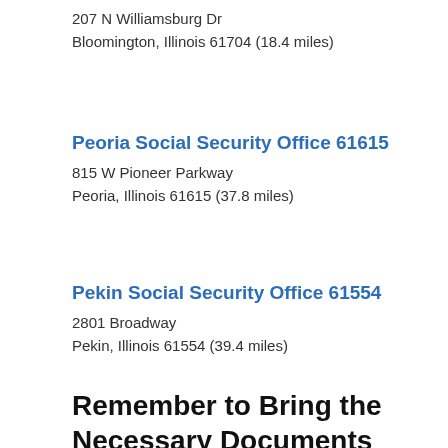207 N Williamsburg Dr
Bloomington, Illinois 61704 (18.4 miles)
Peoria Social Security Office 61615
815 W Pioneer Parkway
Peoria, Illinois 61615 (37.8 miles)
Pekin Social Security Office 61554
2801 Broadway
Pekin, Illinois 61554 (39.4 miles)
Remember to Bring the Necessary Documents